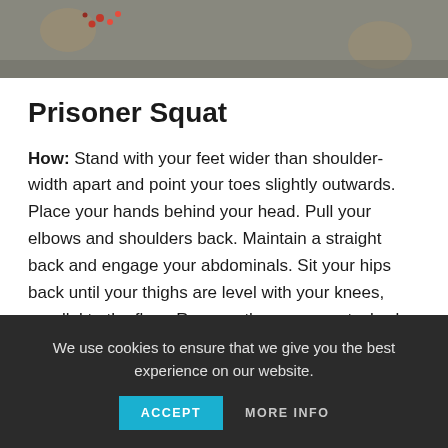[Figure (photo): Partial photo showing feet/ground, likely demonstrating a squat starting position]
Prisoner Squat
How: Stand with your feet wider than shoulder-width apart and point your toes slightly outwards. Place your hands behind your head. Pull your elbows and shoulders back. Maintain a straight back and engage your abdominals. Sit your hips back until your thighs are level with your knees, parallel to the floor. Reverse the movement, slowly raising back up to the start position. That's one rep.
We use cookies to ensure that we give you the best experience on our website.
ACCEPT   MORE INFO